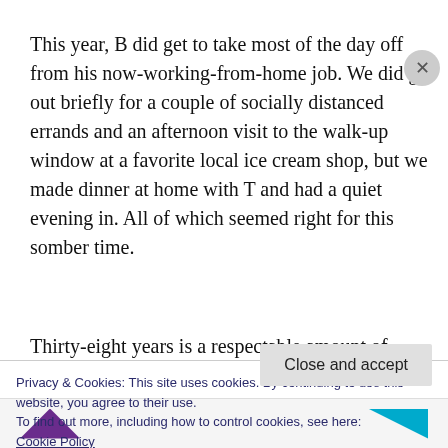This year, B did get to take most of the day off from his now-working-from-home job. We did go out briefly for a couple of socially distanced errands and an afternoon visit to the walk-up window at a favorite local ice cream shop, but we made dinner at home with T and had a quiet evening in. All of which seemed right for this somber time.
Thirty-eight years is a respectable amount of
Privacy & Cookies: This site uses cookies. By continuing to use this website, you agree to their use.
To find out more, including how to control cookies, see here:
Cookie Policy
Close and accept